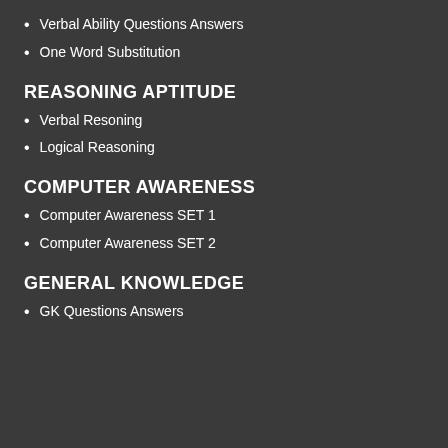Verbal Ability Questions Answers
One Word Substitution
REASONING APTITUDE
Verbal Resoning
Logical Reasoning
COMPUTER AWARENESS
Computer Awareness SET 1
Computer Awareness SET 2
GENERAL KNOWLEDGE
GK Questions Answers